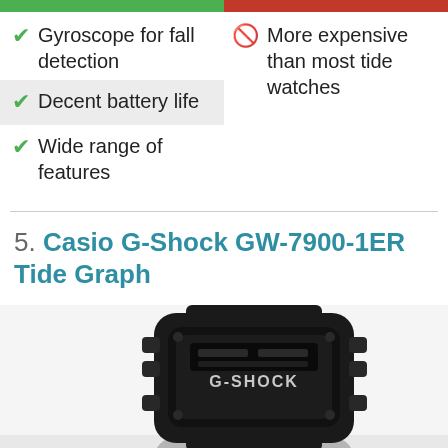✓ Gyroscope for fall detection
🚫 More expensive than most tide watches
✓ Decent battery life
✓ Wide range of features
5. Casio G-Shock GW-7900-1ER Tide Graph
[Figure (photo): Black Casio G-Shock GW-7900-1ER watch shown from front, with G-SHOCK branding visible on the face, reflected on a surface below showing CASIO and other text]